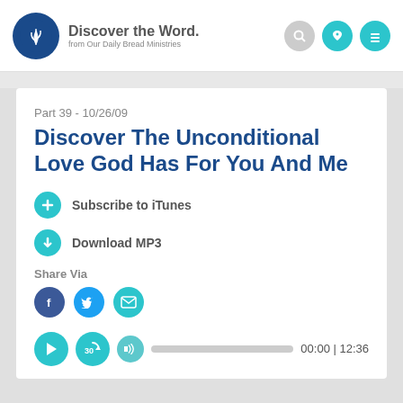Discover the Word. from Our Daily Bread Ministries
Part 39 - 10/26/09
Discover The Unconditional Love God Has For You And Me
Subscribe to iTunes
Download MP3
Share Via
[Figure (infographic): Social share buttons: Facebook, Twitter, Email]
[Figure (infographic): Audio player controls: play button, skip 30s button, volume button, progress bar, time display 00:00 | 12:36]